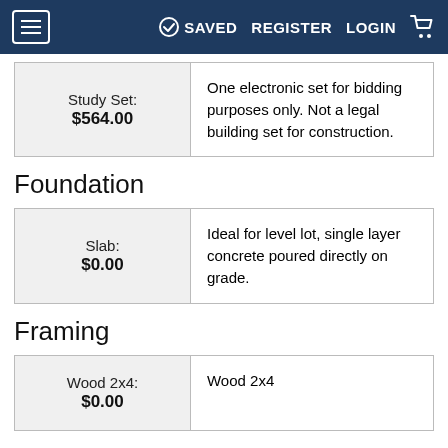SAVED REGISTER LOGIN
| Study Set:
$564.00 | One electronic set for bidding purposes only. Not a legal building set for construction. |
Foundation
| Slab:
$0.00 | Ideal for level lot, single layer concrete poured directly on grade. |
Framing
| Wood 2x4:
$0.00 | Wood 2x4 |